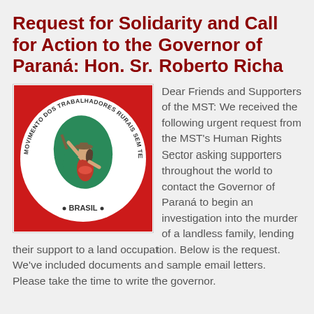Request for Solidarity and Call for Action to the Governor of Paraná: Hon. Sr. Roberto Richa
[Figure (logo): Circular logo of the MST (Movimento dos Trabalhadores Rurais Sem Terra, Brasil) on a red square background. The circle shows a man and woman figure against a green map of Brazil, with text around the circle reading 'MOVIMENTO DOS TRABALHADORES RURAIS SEM TERRA' and 'BRASIL' at the bottom.]
Dear Friends and Supporters of the MST: We received the following urgent request from the MST's Human Rights Sector asking supporters throughout the world to contact the Governor of Paraná to begin an investigation into the murder of a landless family, lending their support to a land occupation. Below is the request. We've included documents and sample email letters. Please take the time to write the governor.